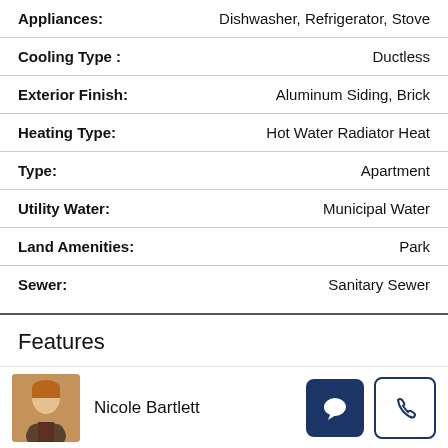| Property | Value |
| --- | --- |
| Appliances: | Dishwasher, Refrigerator, Stove |
| Cooling Type : | Ductless |
| Exterior Finish: | Aluminum Siding, Brick |
| Heating Type: | Hot Water Radiator Heat |
| Type: | Apartment |
| Utility Water: | Municipal Water |
| Land Amenities: | Park |
| Sewer: | Sanitary Sewer |
Features
Nicole Bartlett